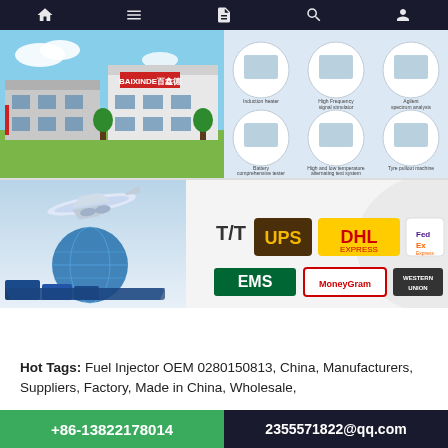[Figure (screenshot): Mobile website navigation bar with home, menu, document, search, and user account icons on dark background]
[Figure (photo): Factory building exterior with BAIXINDE branding and industrial equipment photos arranged in a grid]
[Figure (photo): Shipping illustration with airplane, globe, and freight containers]
[Figure (infographic): Payment methods: T/T, UPS, DHL Express, FedEx Express, EMS, MoneyGram, Western Union]
Hot Tags: Fuel Injector OEM 0280150813, China, Manufacturers, Suppliers, Factory, Made in China, Wholesale,
+86-13822178014   2355571822@qq.com